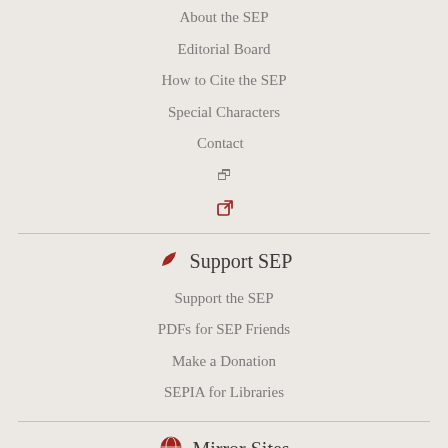About the SEP
Editorial Board
How to Cite the SEP
Special Characters
Contact
Support SEP
Support the SEP
PDFs for SEP Friends
Make a Donation
SEPIA for Libraries
Mirror Sites
View this site from another server:
Australia
Library, University of Sydney